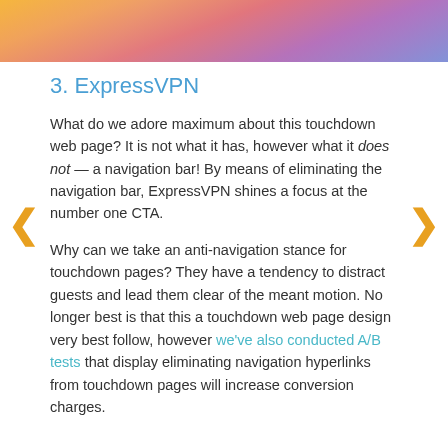[Figure (illustration): Colorful abstract illustration with orange, pink, purple, and blue tones showing geometric shapes and figures]
3. ExpressVPN
What do we adore maximum about this touchdown web page? It is not what it has, however what it does not — a navigation bar! By means of eliminating the navigation bar, ExpressVPN shines a focus at the number one CTA.
Why can we take an anti-navigation stance for touchdown pages? They have a tendency to distract guests and lead them clear of the meant motion. No longer best is that this a touchdown web page design very best follow, however we've also conducted A/B tests that display eliminating navigation hyperlinks from touchdown pages will increase conversion charges.